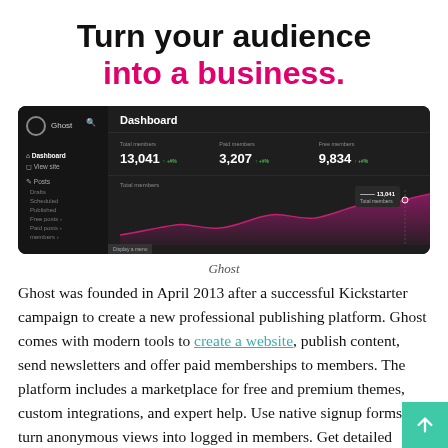Turn your audience into a business.
[Figure (screenshot): Ghost dashboard screenshot showing Total members 13,041, Paid members 3,207, Free members 9,834, with a purple area chart of Total members over time]
Ghost
Ghost was founded in April 2013 after a successful Kickstarter campaign to create a new professional publishing platform. Ghost comes with modern tools to create a website, publish content, send newsletters and offer paid memberships to members. The platform includes a marketplace for free and premium themes, custom integrations, and expert help. Use native signup forms that turn anonymous views into logged in members. Get detailed engagement analytics. Connect your Stripe account and offer premium content to your audience